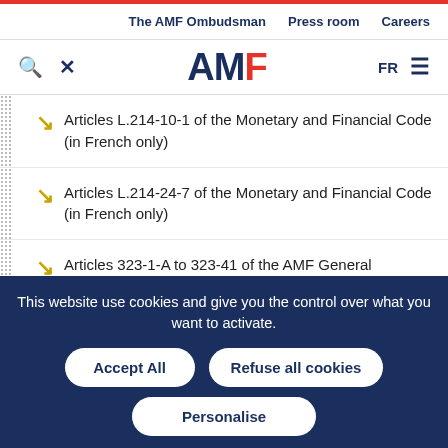The AMF Ombudsman  Press room  Careers
[Figure (logo): AMF logo with search and tools icons, FR language toggle and hamburger menu]
Articles L.214-10-1 of the Monetary and Financial Code (in French only)
Articles L.214-24-7 of the Monetary and Financial Code (in French only)
Articles 323-1-A to 323-41 of the AMF General Regulation
This website use cookies and give you the control over what you want to activate.
Accept All  Refuse all cookies  Personalise